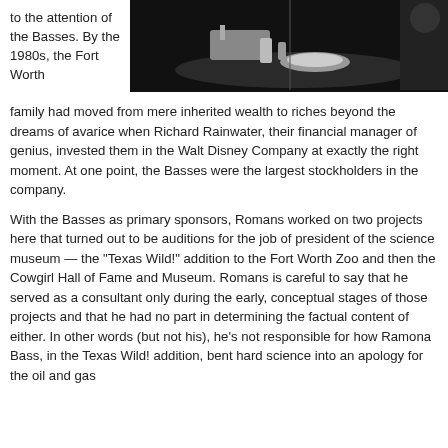to the attention of the Basses. By the 1980s, the Fort Worth
[Figure (photo): Black and white photograph showing objects on a table, partially visible, with a person in the background]
family had moved from mere inherited wealth to riches beyond the dreams of avarice when Richard Rainwater, their financial manager of genius, invested them in the Walt Disney Company at exactly the right moment. At one point, the Basses were the largest stockholders in the company.
With the Basses as primary sponsors, Romans worked on two projects here that turned out to be auditions for the job of president of the science museum — the “Texas Wild!” addition to the Fort Worth Zoo and then the Cowgirl Hall of Fame and Museum. Romans is careful to say that he served as a consultant only during the early, conceptual stages of those projects and that he had no part in determining the factual content of either. In other words (but not his), he’s not responsible for how Ramona Bass, in the Texas Wild! addition, bent hard science into an apology for the oil and gas